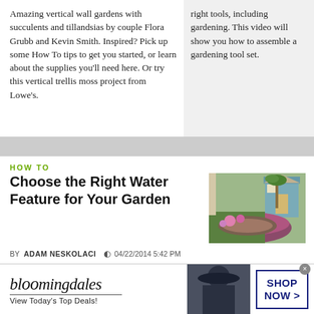Amazing vertical wall gardens with succulents and tillandsias by couple Flora Grubb and Kevin Smith. Inspired? Pick up some How To tips to get you started, or learn about the supplies you'll need here. Or try this vertical trellis moss project from Lowe's.
right tools, including gardening. This video will show you how to assemble a gardening tool set.
HOW TO
Choose the Right Water Feature for Your Garden
[Figure (photo): Garden water feature with colorful plants and a shed in background]
BY ADAM NESKOLACI  04/22/2014 5:42 PM
GARDENING
Adding water features to your garden can help to create an enviroment that more closely resembles nature. The sound of a trickling fountain can make your garden feel more peaceful and relax. Paul Tamate, a leading landscape designer working
[Figure (other): Bloomingdale's advertisement banner: 'View Today's Top Deals!' with SHOP NOW >]